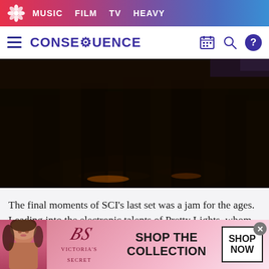MUSIC  FILM  TV  HEAVY
CONSEQUENCE
[Figure (photo): Dark nighttime outdoor festival scene with people, warm orange light glow visible on ground]
The final moments of SCI's last set was a jam for the ages. Leading into the electronic talents of Pretty Lights, whom SCI guitarist Bill Nershi accurately claimed would “blow this place up,” the six-piece broke into a fusion of bluegrass and hard trance. (If Avicii thinks he’s ahead of the
[Figure (photo): Victoria's Secret advertisement banner: woman model on left, VS logo in center, SHOP THE COLLECTION text, SHOP NOW button on right]